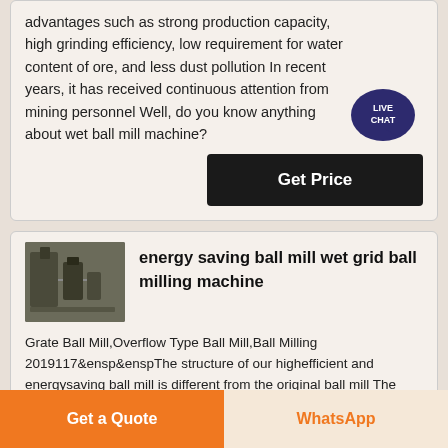advantages such as strong production capacity, high grinding efficiency, low requirement for water content of ore, and less dust pollution In recent years, it has received continuous attention from mining personnel Well, do you know anything about wet ball mill machine?
[Figure (other): Live Chat speech bubble icon in teal/dark blue]
Get Price
[Figure (photo): Industrial ball mill machinery photograph]
energy saving ball mill wet grid ball milling machine
Grate Ball Mill,Overflow Type Ball Mill,Ball Milling 2019117&ensp&enspThe structure of our highefficient and energysaving ball mill is different from the original ball mill The machine body and the bottom frame is integral, so that
Get a Quote
WhatsApp